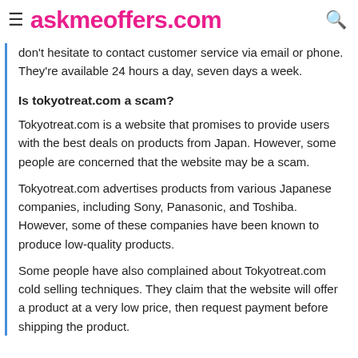askmeoffers.com
don't hesitate to contact customer service via email or phone. They're available 24 hours a day, seven days a week.
Is tokyotreat.com a scam?
Tokyotreat.com is a website that promises to provide users with the best deals on products from Japan. However, some people are concerned that the website may be a scam.
Tokyotreat.com advertises products from various Japanese companies, including Sony, Panasonic, and Toshiba. However, some of these companies have been known to produce low-quality products.
Some people have also complained about Tokyotreat.com cold selling techniques. They claim that the website will offer a product at a very low price, then request payment before shipping the product.